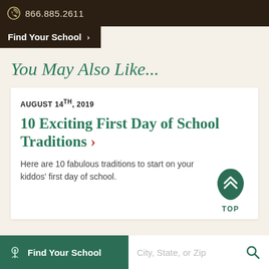866.885.2611
Find Your School >
You May Also Like...
AUGUST 14TH, 2019
10 Exciting First Day of School Traditions >
Here are 10 fabulous traditions to start on your kiddos' first day of school.
Find Your School  City, State, or Zip